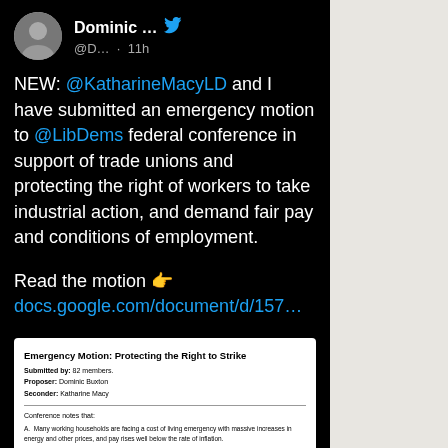[Figure (screenshot): Screenshot of a Twitter/social media post by Dominic ... (@D...) posted 11h ago. The tweet reads: NEW: @KatharineMacyLD and I have submitted an emergency motion to @LibDems federal conference in support of trade unions and protecting the right of workers to take industrial action, and demand fair pay and conditions of employment. Read the motion 👉 docs.google.com/document/d/157…. Includes a preview of a document titled 'Emergency Motion: Protecting the Right to Strike' with fields for Submitted by, Proposer (Dominic Buxton), Seconder (Katharine Macy), and list items about conference notes.]